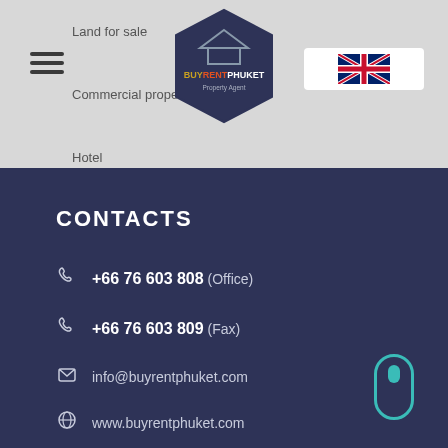Land for sale | Commercial property | Hotel
[Figure (logo): BuyRentPhuket Property Agent hexagon logo]
[Figure (illustration): UK flag language selector button]
CONTACTS
+66 76 603 808 (Office)
+66 76 603 809 (Fax)
info@buyrentphuket.com
www.buyrentphuket.com
RIGHTS
© 2020 BUYRENTPHUKET
All rights reserved.
Develompent: BS studio